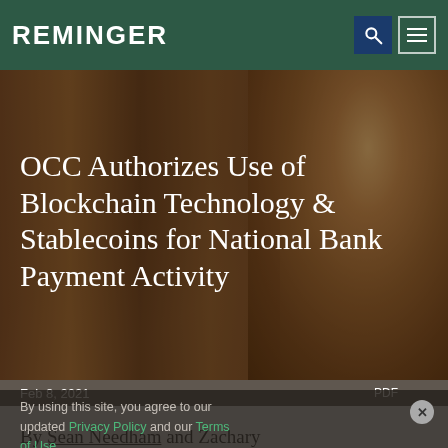REMINGER
[Figure (photo): Dark background hero image with wooden sculpture/carving detail on the right side, overlaid with large white article title text]
OCC Authorizes Use of Blockchain Technology & Stablecoins for National Bank Payment Activity
Feb 8, 2021   PDF
By using this site, you agree to our updated Privacy Policy and our Terms of Use.
By Sean Needham and Zachary